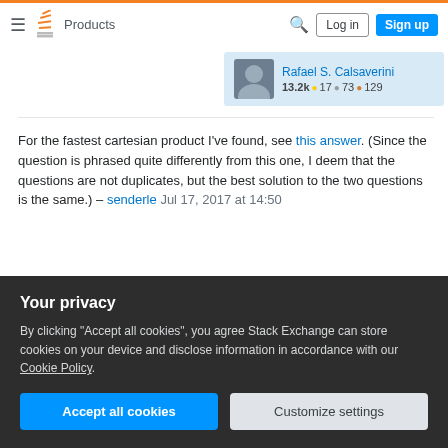≡  [Stack Overflow logo]  Products  🔍  Log in  Sign up
Rafael S. Calsaverini  13.2k • 17 • 73 • 129
For the fastest cartesian product I've found, see this answer. (Since the question is phrased quite differently from this one, I deem that the questions are not duplicates, but the best solution to the two questions is the same.) – senderle Jul 17, 2017 at 14:50
Add a comment
Sorted by:
Trending sort available
Your privacy
By clicking "Accept all cookies", you agree Stack Exchange can store cookies on your device and disclose information in accordance with our Cookie Policy.
Accept all cookies  Customize settings